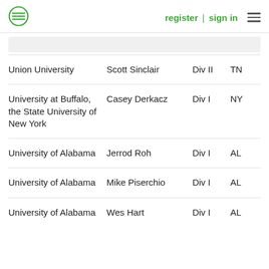register | sign in
| Institution | Contact | Division | State |
| --- | --- | --- | --- |
| Union University | Scott Sinclair | Div II | TN |
| University at Buffalo, the State University of New York | Casey Derkacz | Div I | NY |
| University of Alabama | Jerrod Roh | Div I | AL |
| University of Alabama | Mike Piserchio | Div I | AL |
| University of Alabama | Wes Hart | Div I | AL |